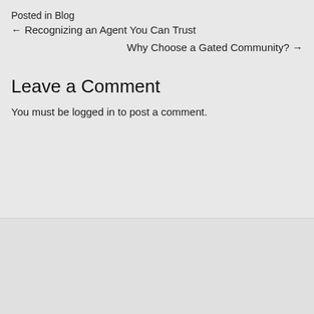Posted in Blog
← Recognizing an Agent You Can Trust
Why Choose a Gated Community? →
Leave a Comment
You must be logged in to post a comment.
[Figure (logo): ICA Agency Alliance, Inc. logo with red ellipse and bold ICA text]
Member Login
Select Language